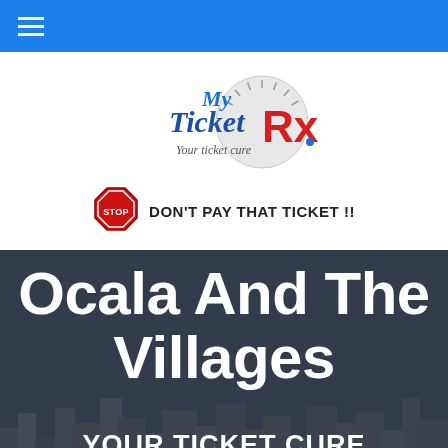Navigation bar with hamburger menu
[Figure (logo): My Ticket Rx logo — stylized script 'My Ticket Rx' with a speedometer graphic and tagline 'Your ticket cure']
STOP  DON'T PAY THAT TICKET !!
Ocala And The Villages
YOUR TICKET CURE STARTS HERE